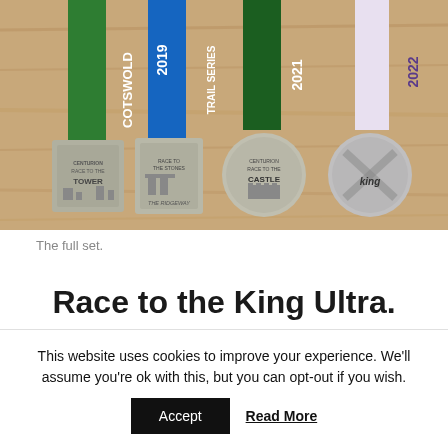[Figure (photo): A photograph of four running race medals laid on a wooden surface. Each medal has a ribbon: green ribbon reading 'COTSWOLD', blue ribbon reading 'TRAIL SERIES 2019 RACE TO THE', green ribbon reading '2021', and light purple/white ribbon reading '2022'. The medals from left to right show: Race to the Tower (rectangular), Race to the Stones / The Ridgeway (rectangular), Centurion Race to the Castle (round), and Race to the King (round).]
The full set.
Race to the King Ultra.
This website uses cookies to improve your experience. We'll assume you're ok with this, but you can opt-out if you wish.